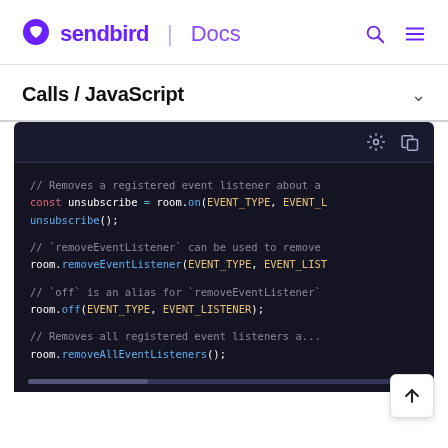sendbird | Docs
Calls / JavaScript
[Figure (screenshot): Dark-themed code block showing JavaScript code for removing event listeners from a room object. Comments and code lines include: '// Removes a registered event listener about a', 'const unsubscribe = room.on(EVENT_TYPE, EVENT_L', 'unsubscribe();', '// `removeEventListener` can be used to remove', 'room.removeEventListener(EVENT_TYPE, EVENT_LIST', '// `off` is an alias for `removeEventListener`', 'room.off(EVENT_TYPE, EVENT_LISTENER);', '// Removes all registered event listeners a...', 'room.removeAllEventListeners();']